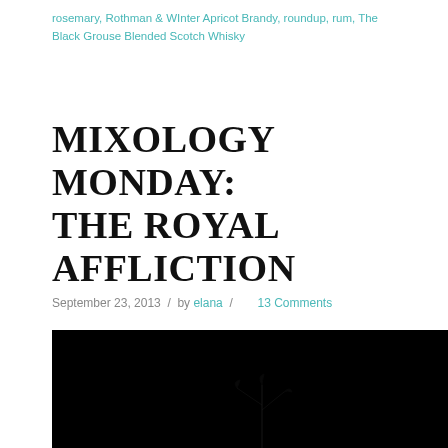rosemary, Rothman & WInter Apricot Brandy, roundup, rum, The Black Grouse Blended Scotch Whisky
MIXOLOGY MONDAY: THE ROYAL AFFLICTION
September 23, 2013 / by elana / 13 Comments
[Figure (photo): Dark, near-black photograph of a cocktail glass with a faint plant/herb silhouette visible against the dark background]